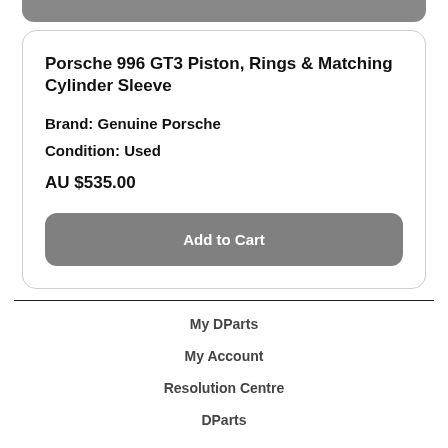Porsche 996 GT3 Piston, Rings & Matching Cylinder Sleeve
Brand: Genuine Porsche
Condition: Used
AU $535.00
Add to Cart
My DParts
My Account
Resolution Centre
DParts